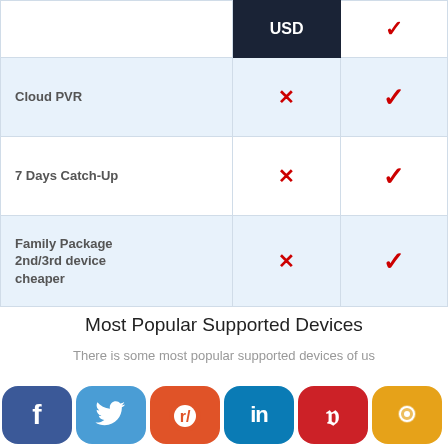| Feature | USD |  |
| --- | --- | --- |
|  | USD | ✓ |
| Cloud PVR | ✗ | ✓ |
| 7 Days Catch-Up | ✗ | ✓ |
| Family Package 2nd/3rd device cheaper | ✗ | ✓ |
Most Popular Supported Devices
There is some most popular supported devices of us
[Figure (infographic): Social media share buttons row: Facebook, Twitter, Reddit, LinkedIn, Pinterest, chat/line icon]